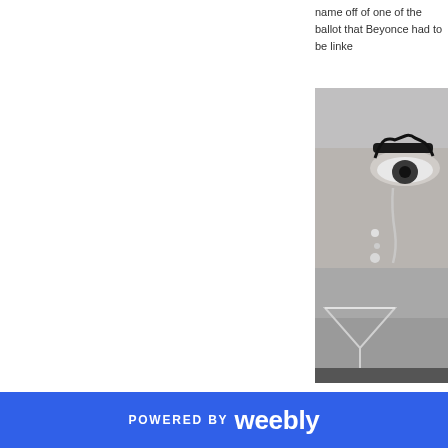name off of one of the ballot that Beyonce had to be linke
[Figure (photo): Black and white close-up photo of a woman's face showing one eye with dramatic makeup, a tear running down her cheek, a dangling earring, and a martini glass in the lower portion of the frame.]
Usually after a night on the t
POWERED BY weebly